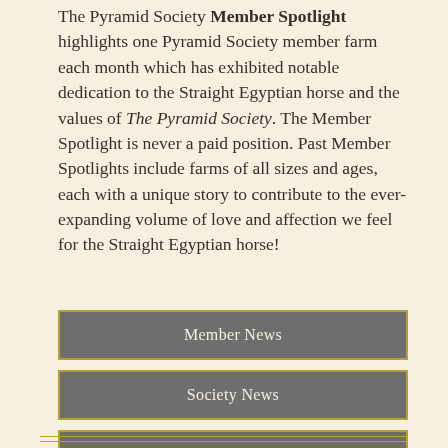The Pyramid Society Member Spotlight highlights one Pyramid Society member farm each month which has exhibited notable dedication to the Straight Egyptian horse and the values of The Pyramid Society. The Member Spotlight is never a paid position. Past Member Spotlights include farms of all sizes and ages, each with a unique story to contribute to the ever-expanding volume of love and affection we feel for the Straight Egyptian horse!
Member News
Society News
Industry News